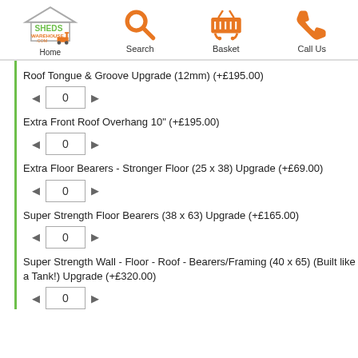[Figure (logo): Sheds Warehouse .com logo with forklift]
Home | Search | Basket | Call Us
Roof Tongue & Groove Upgrade (12mm) (+£195.00)
Extra Front Roof Overhang 10" (+£195.00)
Extra Floor Bearers - Stronger Floor (25 x 38) Upgrade (+£69.00)
Super Strength Floor Bearers (38 x 63) Upgrade (+£165.00)
Super Strength Wall - Floor - Roof - Bearers/Framing (40 x 65) (Built like a Tank!) Upgrade (+£320.00)